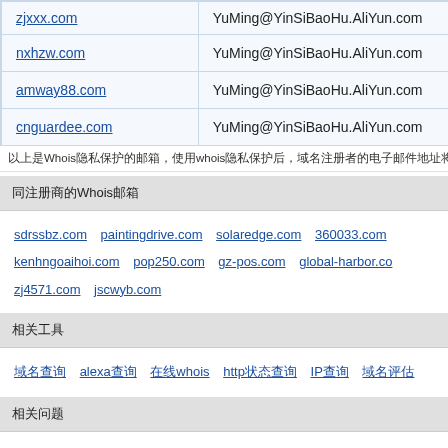| 域名 | 联系邮箱 |
| --- | --- |
| zjxxx.com | YuMing@YinSiBaoHu.AliYun.com |
| nxhzw.com | YuMing@YinSiBaoHu.AliYun.com |
| amway88.com | YuMing@YinSiBaoHu.AliYun.com |
| cnguardee.com | YuMing@YinSiBaoHu.AliYun.com |
以上是Whois隐私保护的邮箱，使用whois隐私保护后，域名注册者的电子邮件地址将被一个随机生成的邮件地址替代显示在whois
同注册商的Whois邮箱
sdrssbz.com  paintingdrive.com  solaredge.com  360033.com  kenhngoaihoi.com  pop250.com  gz-pos.com  global-harbor.com  zj4571.com  jscwyb.com
相关工具
域名查询  alexa查询  在线whois  http状态查询  IP查询  域名评估
相关问